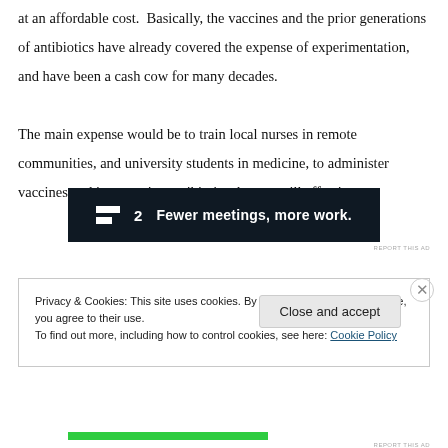at an affordable cost.  Basically, the vaccines and the prior generations of antibiotics have already covered the expense of experimentation, and have been a cash cow for many decades.
The main expense would be to train local nurses in remote communities, and university students in medicine, to administer vaccines and inexpensive antibiotics that are still effective.
[Figure (other): Advertisement banner with dark background showing logo '■2' and text 'Fewer meetings, more work.']
REPORT THIS AD
Privacy & Cookies: This site uses cookies. By continuing to use this website, you agree to their use.
To find out more, including how to control cookies, see here: Cookie Policy
Close and accept